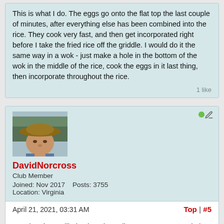This is what I do. The eggs go onto the flat top the last couple of minutes, after everything else has been combined into the rice. They cook very fast, and then get incorporated right before I take the fried rice off the griddle. I would do it the same way in a wok - just make a hole in the bottom of the wok in the middle of the rice, cook the eggs in it last thing, then incorporate throughout the rice.
1 like
[Figure (photo): Profile photo of DavidNorcross: a middle-aged man wearing a wide-brimmed hat, outdoors with trees in background]
DavidNorcross
Club Member
Joined: Nov 2017   Posts: 3755
Location: Virginia
April 21, 2021, 03:31 AM
Top | #5
Good recipe. Will give it a shot. Like @Ernest I cook the rice the day before. Thank you for sharing.